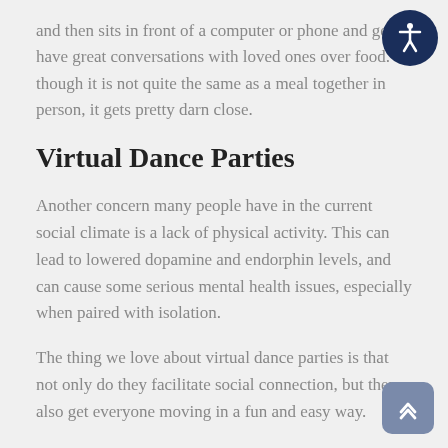and then sits in front of a computer or phone and gets have great conversations with loved ones over food. though it is not quite the same as a meal together in person, it gets pretty darn close.
Virtual Dance Parties
Another concern many people have in the current social climate is a lack of physical activity. This can lead to lowered dopamine and endorphin levels, and can cause some serious mental health issues, especially when paired with isolation.
The thing we love about virtual dance parties is that not only do they facilitate social connection, but they also get everyone moving in a fun and easy way.